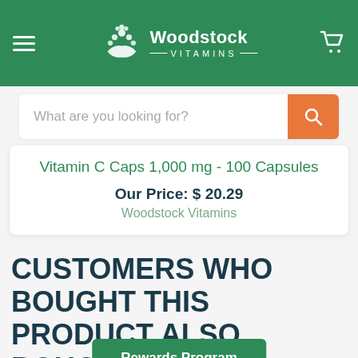[Figure (logo): Woodstock Vitamins logo with leaf/hands icon on green header background]
What are you looking for?
Vitamin C Caps 1,000 mg - 100 Capsules
Our Price: $ 20.29
Woodstock Vitamins
CUSTOMERS WHO BOUGHT THIS PRODUCT ALSO BOUGHT
Rewards Program